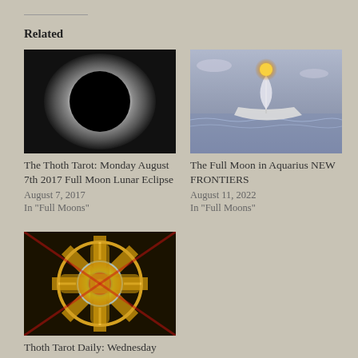Related
[Figure (photo): Solar eclipse photo showing black disc with corona glow]
The Thoth Tarot: Monday August 7th 2017 Full Moon Lunar Eclipse
August 7, 2017
In "Full Moons"
[Figure (illustration): Fantasy illustration of a boat with glowing orb on misty water]
The Full Moon in Aquarius NEW FRONTIERS
August 11, 2022
In "Full Moons"
[Figure (illustration): Thoth Tarot card illustration with colorful circular mandala design in gold and blue]
Thoth Tarot Daily: Wednesday May 10th 2017
May 10, 2017